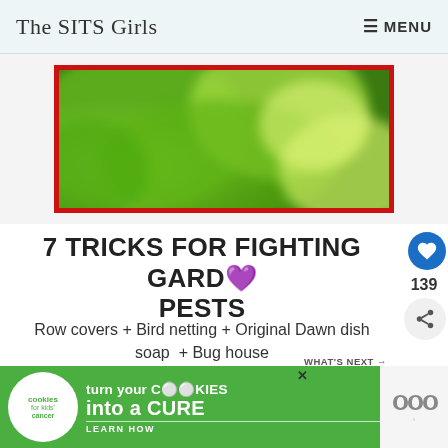The SITS Girls   ≡ MENU
[Figure (photo): Close-up blurred photo of green leaves with a red border frame around the image]
7 TRICKS FOR FIGHTING GARDEN PESTS
Row covers + Bird netting + Original Dawn dish soap  + Bug house
[Figure (infographic): What's Next panel showing a circular thumbnail of Halloween image with text: WHAT'S NEXT → 10 Halloween Tricks And...]
[Figure (infographic): Advertisement banner: cookies for kids cancer - turn your COOKIES into a CURE LEARN HOW]